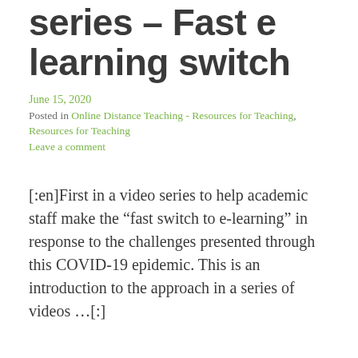series – Fast e learning switch
June 15, 2020
Posted in Online Distance Teaching - Resources for Teaching, Resources for Teaching
Leave a comment
[:en]First in a video series to help academic staff make the "fast switch to e-learning" in response to the challenges presented through this COVID-19 epidemic. This is an introduction to the approach in a series of videos ...[ :]